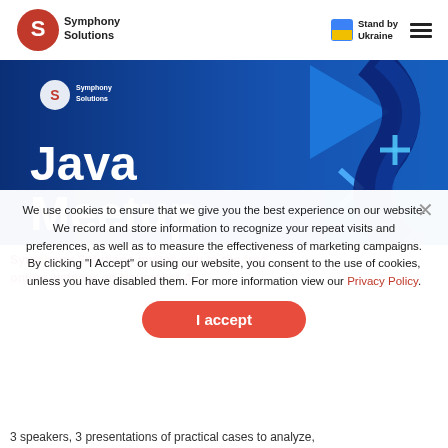Symphony Solutions | Stand by Ukraine
[Figure (illustration): Java Meetup promotional banner with Symphony Solutions logo on a blue background with geometric shapes and code patterns. Large white text reads 'Java Meetup'.]
We use cookies to ensure that we give you the best experience on our website. We record and store information to recognize your repeat visits and preferences, as well as to measure the effectiveness of marketing campaigns. By clicking “I Accept” or using our website, you consent to the use of cookies, unless you have disabled them. For more information view our Privacy Policy.
I accept
Symphony Solutions invites you to the free online webinar on November 4!
3 speakers, 3 presentations of practical cases to analyze,